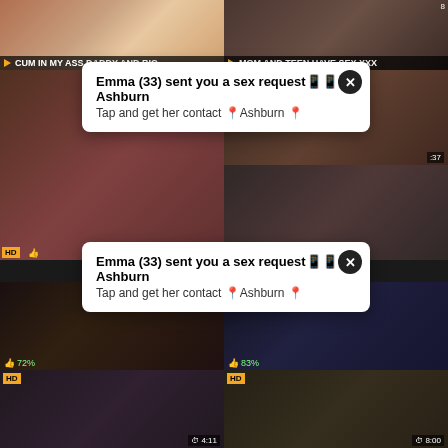[Figure (screenshot): Adult video thumbnail grid page with two notification popups overlay. Top row shows two video thumbnails with titles. Middle section has thumbnails on left and two popups on right. Large thumbnails in middle-lower area. Bottom row shows two more video thumbnails with HD badges and durations.]
CUM IN MY ASS DADDY AND BIG
MOM AND TEEN HAVE SEX XXX
Emma (33) sent you a sex request📱📱 Ashburn
Tap and get her contact 📍 Ashburn 📍
Emma (33) sent you a sex request📱📱 Ashburn
Tap and get her contact 📍 Ashburn 📍
72%
83%
BLACK COCK SUCKING MILF
TOUR OF BOOTY - HORNY
HD  4:11
HD  8:00